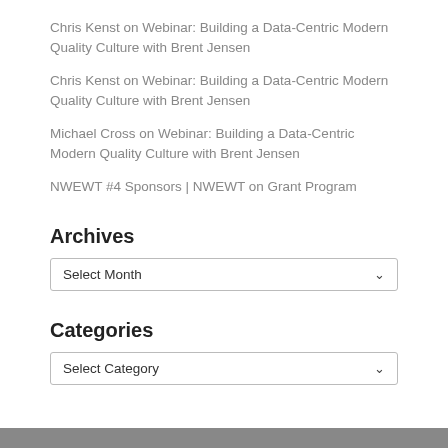Chris Kenst on Webinar: Building a Data-Centric Modern Quality Culture with Brent Jensen
Chris Kenst on Webinar: Building a Data-Centric Modern Quality Culture with Brent Jensen
Michael Cross on Webinar: Building a Data-Centric Modern Quality Culture with Brent Jensen
NWEWT #4 Sponsors | NWEWT on Grant Program
Archives
Select Month
Categories
Select Category